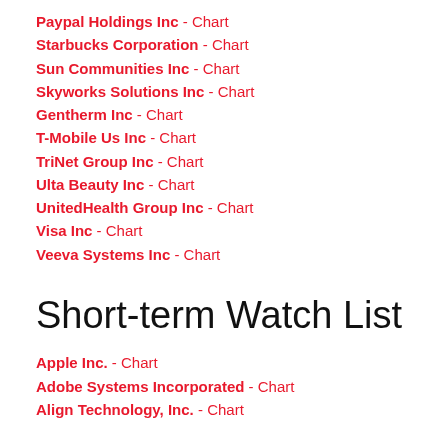Paypal Holdings Inc - Chart
Starbucks Corporation - Chart
Sun Communities Inc - Chart
Skyworks Solutions Inc - Chart
Gentherm Inc - Chart
T-Mobile Us Inc - Chart
TriNet Group Inc - Chart
Ulta Beauty Inc - Chart
UnitedHealth Group Inc - Chart
Visa Inc - Chart
Veeva Systems Inc - Chart
Short-term Watch List
Apple Inc. - Chart
Adobe Systems Incorporated - Chart
Align Technology, Inc. - Chart